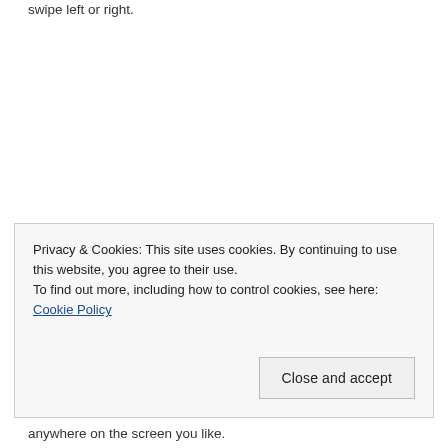swipe left or right.
Privacy & Cookies: This site uses cookies. By continuing to use this website, you agree to their use.
To find out more, including how to control cookies, see here: Cookie Policy
Close and accept
anywhere on the screen you like.